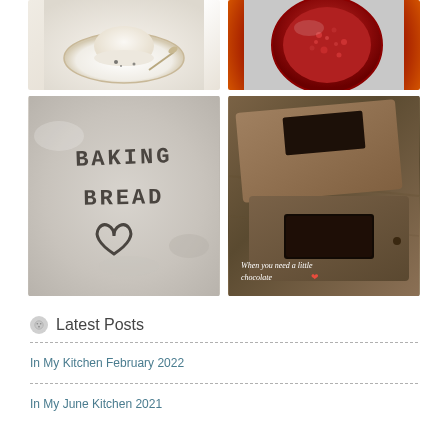[Figure (photo): Panna cotta on a decorative plate with spoon]
[Figure (photo): Close-up of a raspberry or red fruit from above]
[Figure (photo): Flour surface with 'BAKING BREAD' written and a heart drawn]
[Figure (photo): Dark chocolate pieces on wooden cutting boards with caption 'When you need a little chocolate ❤️']
Latest Posts
In My Kitchen February 2022
In My June Kitchen 2021